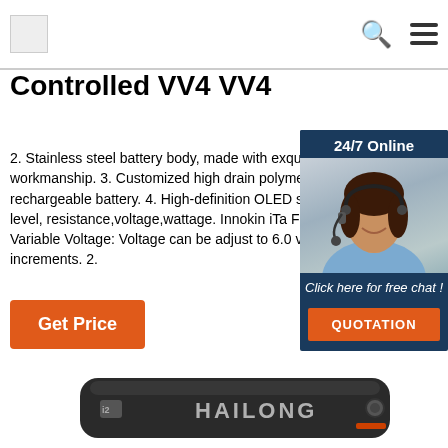[Logo] [Search icon] [Menu icon]
Controlled VV4 VV4
2. Stainless steel battery body, made with exquisite workmanship. 3. Customized high drain polymer li-io rechargeable battery. 4. High-definition OLED scree battery level, resistance,voltage,wattage. Innokin iTa Features: 1. Variable Voltage: Voltage can be adjust to 6.0 volts in .1 volt increments. 2.
Get Price
[Figure (photo): Customer service agent photo with 24/7 Online label, Click here for free chat!, and QUOTATION button sidebar widget]
[Figure (photo): HAILONG branded dark battery pack product photo]